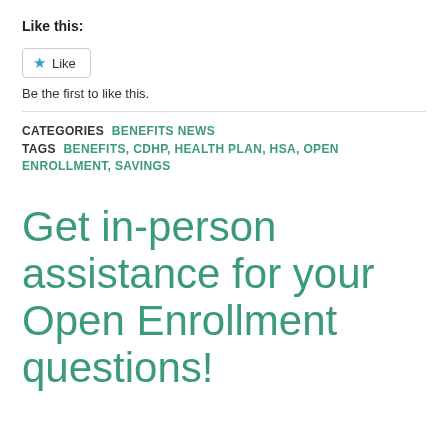Like this:
[Figure (screenshot): Like button with star icon]
Be the first to like this.
CATEGORIES  BENEFITS NEWS
TAGS  BENEFITS, CDHP, HEALTH PLAN, HSA, OPEN ENROLLMENT, SAVINGS
Get in-person assistance for your Open Enrollment questions!